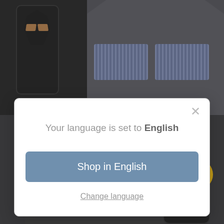[Figure (screenshot): E-commerce website screenshot showing robot face mask products in dark background, with a language selection modal dialog overlay. The modal shows 'Your language is set to English' with a blue 'Shop in English' button and 'Change language' link. Bottom of page shows Deutsch dropdown and yellow 'Chatte mit uns' chat button.]
Your language is set to English
Shop in English
Change language
DIY Animation
Deutsch
Chatte mit uns